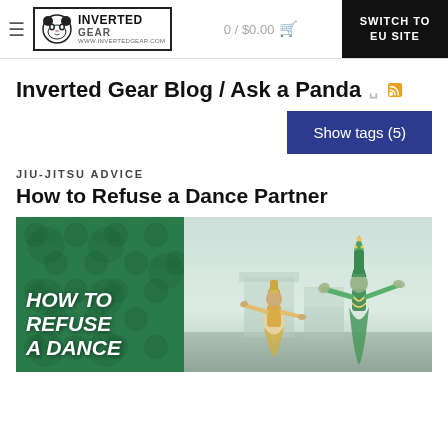Inverted Gear — 0 / $0.00 — SWITCH TO EU SITE
Inverted Gear Blog / Ask a Panda
Show tags (5)
JIU-JITSU ADVICE
How to Refuse a Dance Partner
[Figure (photo): Blog post header image split into two halves: left side is dark green with panda pattern and bold white italic text reading 'HOW TO REFUSE A DANCE'; right side shows Thai classical dancers in costume outdoors.]